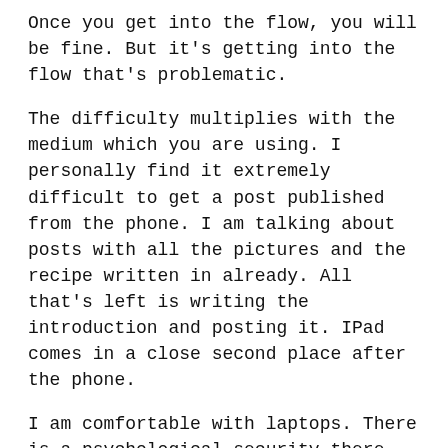Once you get into the flow, you will be fine. But it's getting into the flow that's problematic.
The difficulty multiplies with the medium which you are using. I personally find it extremely difficult to get a post published from the phone. I am talking about posts with all the pictures and the recipe written in already. All that's left is writing the introduction and posting it. IPad comes in a close second place after the phone.
I am comfortable with laptops. There is a psychological security there. May be its just the bigger screen that makes it easier! Who knows!!?
In case you are looking for a point to all that blabbing, there is actually none. But you can check out the recipe here, which has a lot of good points to make – quick and easy, tasty and pairs well with